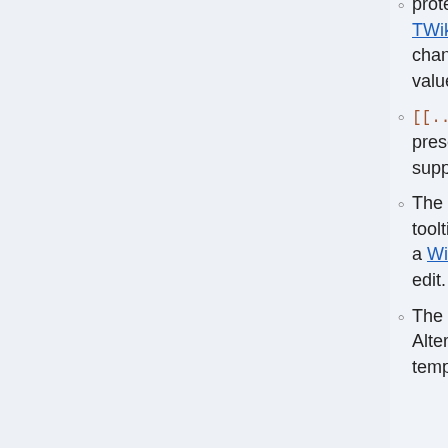protected in the usual manner, using TWikiAccessControl, to limit who can change the form template and/or individual value lists.
[[...]] links can be used to force a link (at present, the [[...][...]] format is not supported).
The Tooltip message column is used as a tooltip for the field name (only if field name is a WikiName) - you only see the tooltip In edit.
The first item in the list is the default item. Alternative initial values can be set in a topic template, like